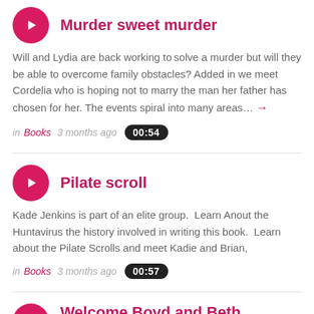Murder sweet murder
Will and Lydia are back working to solve a murder but will they be able to overcome family obstacles? Added in we meet Cordelia who is hoping not to marry the man her father has chosen for her. The events spiral into many areas…
in Books  3 months ago  00:54
Pilate scroll
Kade Jenkins is part of an elite group. Learn Anout the Huntavirus the history involved in writing this book. Learn about the Pilate Scrolls and meet Kadie and Brian,
in Books  3 months ago  00:57
Welcome Boyd and Beth Morrison